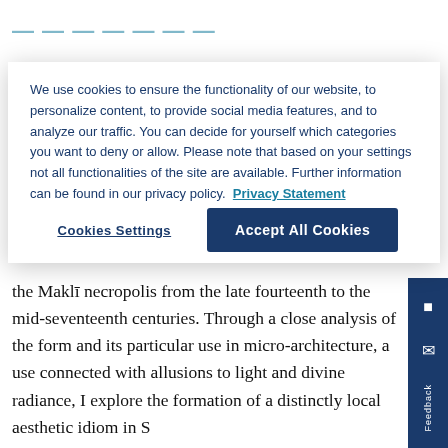[teal navigation header — partially visible]
the Maklī necropolis from the late fourteenth to the mid-seventeenth centuries. Through a close analysis of the form and its particular use in micro-architecture, a use connected with allusions to light and divine radiance, I explore the formation of a distinctly local aesthetic idiom in S
See More
We use cookies to ensure the functionality of our website, to personalize content, to provide social media features, and to analyze our traffic. You can decide for yourself which categories you want to deny or allow. Please note that based on your settings not all functionalities of the site are available. Further information can be found in our privacy policy. Privacy Statement
Cookies Settings
Accept All Cookies